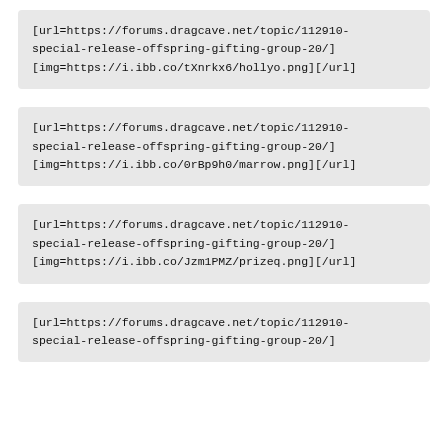[url=https://forums.dragcave.net/topic/112910-special-release-offspring-gifting-group-20/][img=https://i.ibb.co/tXnrkx6/hollyo.png][/url]
[url=https://forums.dragcave.net/topic/112910-special-release-offspring-gifting-group-20/][img=https://i.ibb.co/0rBp9h0/marrow.png][/url]
[url=https://forums.dragcave.net/topic/112910-special-release-offspring-gifting-group-20/][img=https://i.ibb.co/Jzm1PMZ/prizeq.png][/url]
[url=https://forums.dragcave.net/topic/112910-special-release-offspring-gifting-group-20/]